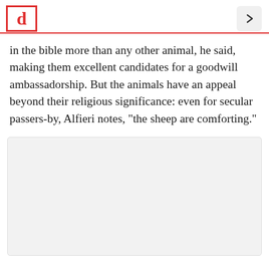[d]
in the bible more than any other animal, he said, making them excellent candidates for a goodwill ambassadorship. But the animals have an appeal beyond their religious significance: even for secular passers-by, Alfieri notes, "the sheep are comforting."
[Figure (photo): Empty grey placeholder image area]